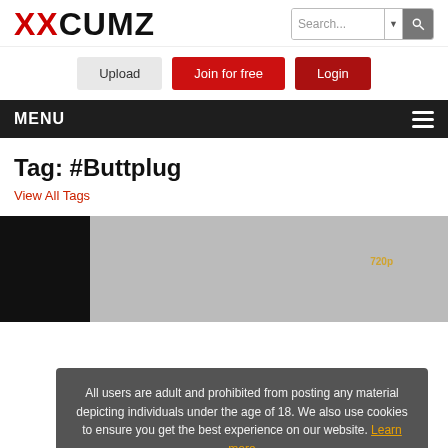XXCUMZ
Upload | Join for free | Login
MENU
Tag: #Buttplug
View All Tags
[Figure (screenshot): Thumbnail image, mostly black]
All users are adult and prohibited from posting any material depicting individuals under the age of 18. We also use cookies to ensure you get the best experience on our website. Learn more  I agree